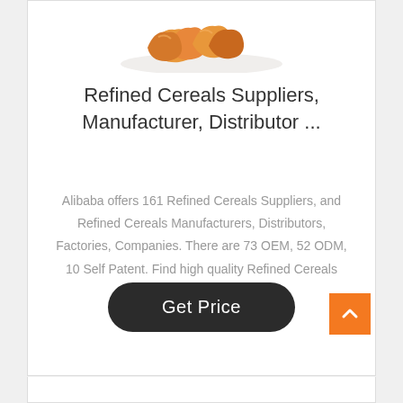[Figure (photo): Cropped product image showing refined cereals/pastry pieces on a white plate at top of card]
Refined Cereals Suppliers, Manufacturer, Distributor ...
Alibaba offers 161 Refined Cereals Suppliers, and Refined Cereals Manufacturers, Distributors, Factories, Companies. There are 73 OEM, 52 ODM, 10 Self Patent. Find high quality Refined Cereals Suppliers on Alibaba.